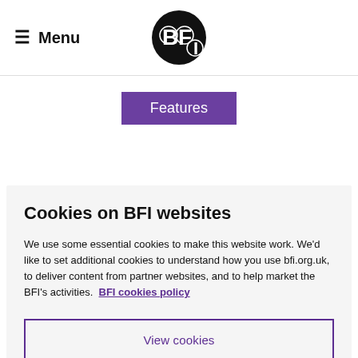≡ Menu | BFI Logo
Features
Planet terror: the
Cookies on BFI websites

We use some essential cookies to make this website work. We'd like to set additional cookies to understand how you use bfi.org.uk, to deliver content from partner websites, and to help market the BFI's activities. BFI cookies policy
View cookies
Reject cookies